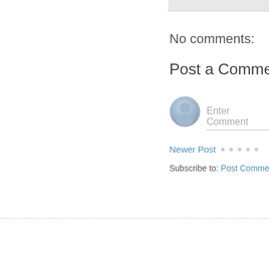No comments:
Post a Comment
[Figure (illustration): User avatar placeholder icon — circular grey gradient silhouette of a person]
Enter Comment
Newer Post
Subscribe to: Post Comments (At...)